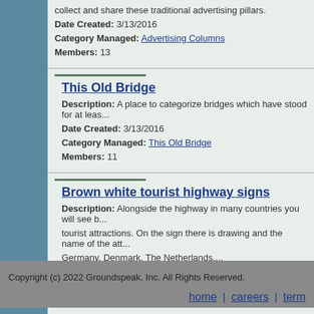collect and share these traditional advertising pillars.
Date Created: 3/13/2016
Category Managed: Advertising Columns
Members: 13
This Old Bridge
Description: A place to categorize bridges which have stood for at lea...
Date Created: 3/13/2016
Category Managed: This Old Bridge
Members: 11
Brown white tourist highway signs
Description: Alongside the highway in many countries you will see b... tourist attractions. On the sign there is drawing and the name of the att... Germany, Denmark, The Netherlands,...
Date Created: 3/9/2016
Category Managed: None
Members: 14
Total Records: 2000 Page: 6 of 80
Copyright (c) 2022 Groundspeak, Inc. All Rights Reserved.
home | careers | term